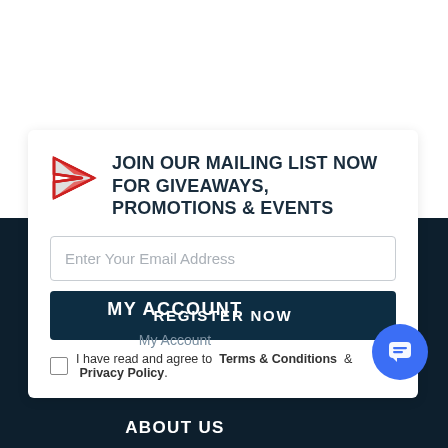JOIN OUR MAILING LIST NOW FOR GIVEAWAYS, PROMOTIONS & EVENTS
Enter Your Email Address
REGISTER NOW
I have read and agree to  Terms & Conditions  &  Privacy Policy.
MY ACCOUNT
My Account
ABOUT US